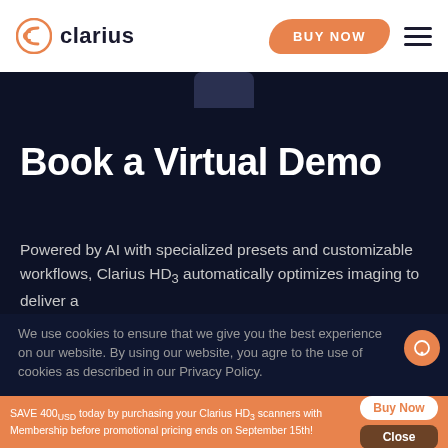clarius — BUY NOW navigation header
Book a Virtual Demo
Powered by AI with specialized presets and customizable workflows, Clarius HD3 automatically optimizes imaging to deliver a
We use cookies to ensure that we give you the best experience on our website. By using our website, you agree to the use of cookies as described in our Privacy Policy.
SAVE 400USD today by purchasing your Clarius HD3 scanners with Membership before promotional pricing ends on September 15th!